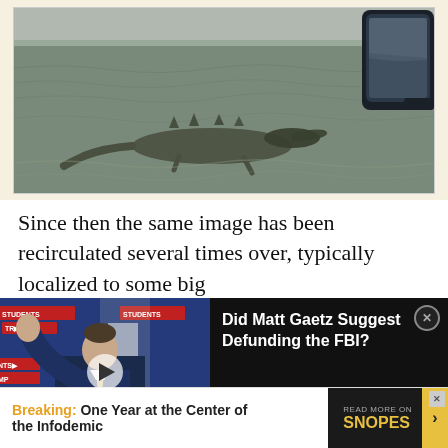[Figure (photo): Photograph of an alligator in flood water next to a road/barrier, with a car side mirror visible on the right side. Photo has a light cream/beige border.]
Since then the same image has been recirculated several times over, typically localized to some big
[Figure (screenshot): Video overlay panel showing a man (Matt Gaetz) at a podium with Trump campaign signage in the background, next to a black panel with the title 'Did Matt Gaetz Suggest Defunding the FBI?' and a close button.]
[Figure (infographic): Advertisement bar at bottom: 'Breaking: One Year at the Center of the Infodemic' with READ MORE ON SNOPES button on the right.]